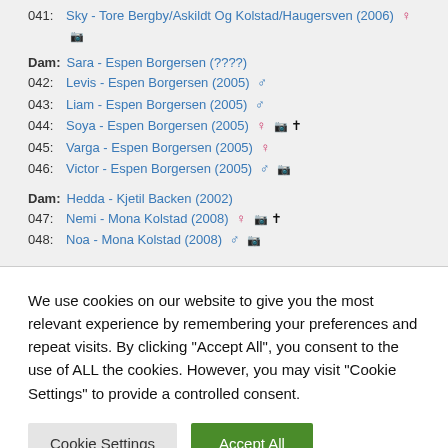041: Sky - Tore Bergby/Askildt Og Kolstad/Haugersven (2006) ♀ 📷
Dam: Sara - Espen Borgersen (????)
042: Levis - Espen Borgersen (2005) ♂
043: Liam - Espen Borgersen (2005) ♂
044: Soya - Espen Borgersen (2005) ♀ 📷 ✝
045: Varga - Espen Borgersen (2005) ♀
046: Victor - Espen Borgersen (2005) ♂ 📷
Dam: Hedda - Kjetil Backen (2002)
047: Nemi - Mona Kolstad (2008) ♀ 📷 ✝
048: Noa - Mona Kolstad (2008) ♂ 📷
We use cookies on our website to give you the most relevant experience by remembering your preferences and repeat visits. By clicking "Accept All", you consent to the use of ALL the cookies. However, you may visit "Cookie Settings" to provide a controlled consent.
Cookie Settings | Accept All